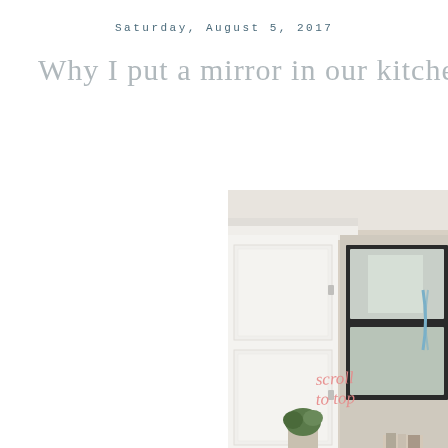Saturday, August 5, 2017
Why I put a mirror in our kitchen!
[Figure (photo): Interior photo of a kitchen showing tall white cabinets reaching the ceiling with crown molding, a large dark-framed mirror on the right wall reflecting light, and a small plant visible at the bottom. A pink cursive overlay reads 'scroll to top'.]